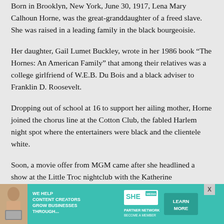Born in Brooklyn, New York, June 30, 1917, Lena Mary Calhoun Horne, was the great-granddaughter of a freed slave. She was raised in a leading family in the black bourgeoisie.
Her daughter, Gail Lumet Buckley, wrote in her 1986 book “The Hornes: An American Family” that among their relatives was a college girlfriend of W.E.B. Du Bois and a black adviser to Franklin D. Roosevelt.
Dropping out of school at 16 to support her ailing mother, Horne joined the chorus line at the Cotton Club, the fabled Harlem night spot where the entertainers were black and the clientele white.
Soon, a movie offer from MGM came after she headlined a show at the Little Troc nightclub with the Katherine
[Figure (infographic): Advertisement banner: teal/green background with a woman holding a laptop. Text reads 'WE HELP CONTENT CREATORS GROW BUSINESSES THROUGH...' with SHE Media Partner Network logo and a 'LEARN MORE' button. Close button (X) in upper right.]